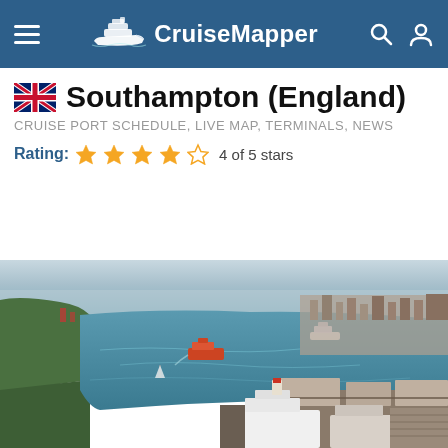CruiseMapper
Southampton (England)
CRUISE PORT SCHEDULE, LIVE MAP, TERMINALS, NEWS
Rating: 4 of 5 stars
[Figure (photo): Aerial view of Southampton port showing a wide waterway with cruise ships and cargo vessels docked at terminals, city visible in background]